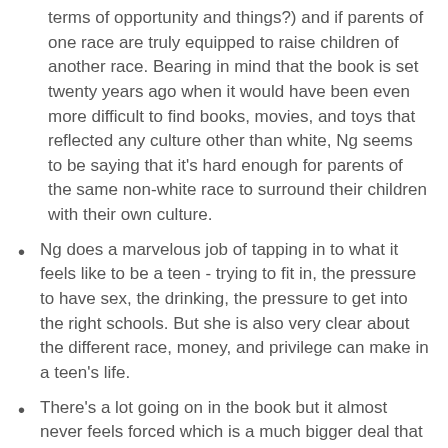terms of opportunity and things?) and if parents of one race are truly equipped to raise children of another race. Bearing in mind that the book is set twenty years ago when it would have been even more difficult to find books, movies, and toys that reflected any culture other than white, Ng seems to be saying that it's hard enough for parents of the same non-white race to surround their children with their own culture.
Ng does a marvelous job of tapping in to what it feels like to be a teen - trying to fit in, the pressure to have sex, the drinking, the pressure to get into the right schools. But she is also very clear about the different race, money, and privilege can make in a teen's life.
There's a lot going on in the book but it almost never feels forced which is a much bigger deal that it sounds like.
The title is perfect: this book is filled with characters setting little fires everywhere. It's a